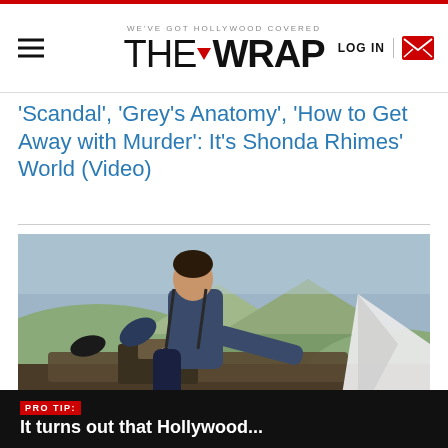WE'VE GOT HOLLYWOOD COVERED | THE WRAP | LOG IN
'Scandal', 'Grey's Anatomy', 'How to Get Away with Murder': It's Shonda Rhimes' World (Video)
[Figure (photo): A man in a dark blue shirt leaning over heavy machinery on what appears to be a truck or bulldozer, outdoors with hills visible in the background.]
PRO TIP: It turns out that Hollywood...